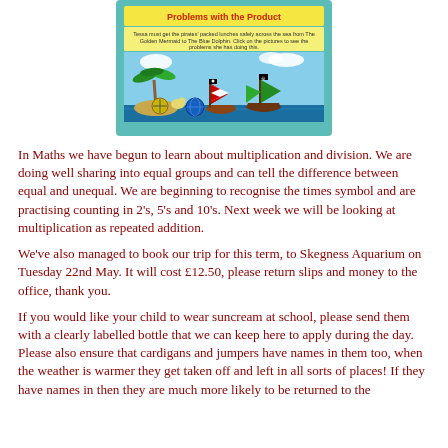[Figure (illustration): Pirate-themed educational screenshot showing 'Problems with the Product' heading, instructional text, and cartoon pirate ships with tropical island imagery on a teal background border.]
In Maths we have begun to learn about multiplication and division. We are doing well sharing into equal groups and can tell the difference between equal and unequal. We are beginning to recognise the times symbol and are practising counting in 2's, 5's and 10's. Next week we will be looking at multiplication as repeated addition.
We've also managed to book our trip for this term, to Skegness Aquarium on Tuesday 22nd May. It will cost £12.50, please return slips and money to the office, thank you.
If you would like your child to wear suncream at school, please send them with a clearly labelled bottle that we can keep here to apply during the day. Please also ensure that cardigans and jumpers have names in them too, when the weather is warmer they get taken off and left in all sorts of places! If they have names in then they are much more likely to be returned to the right child.